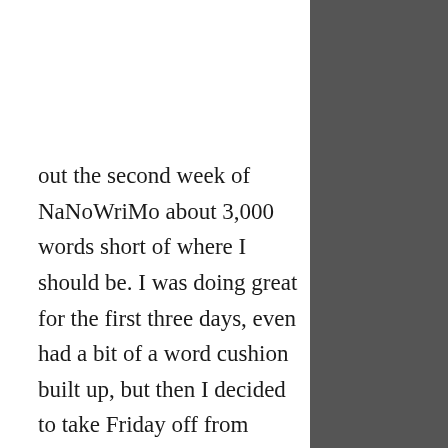out the second week of NaNoWriMo about 3,000 words short of where I should be. I was doing great for the first three days, even had a bit of a word cushion built up, but then I decided to take Friday off from writing, since it was already filled to the brim with errands and my weekly Bible study. Of course I just knew I'd make it up over the weekend, but on